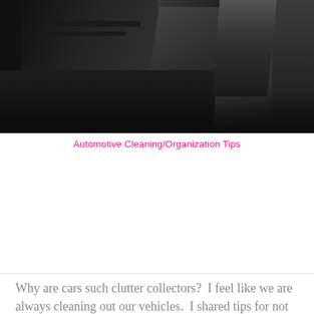[Figure (photo): Dark car interior photograph showing black leather seats and dashboard area]
Automotive Cleaning/Organization Tips
Why are cars such clutter collectors?  I feel like we are always cleaning out our vehicles.  I shared tips for not only